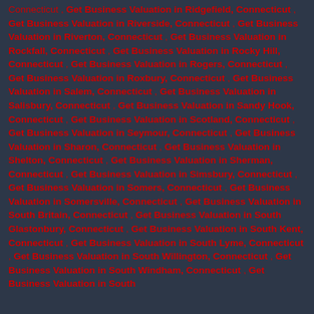Connecticut , Get Business Valuation in Ridgefield, Connecticut , Get Business Valuation in Riverside, Connecticut , Get Business Valuation in Riverton, Connecticut , Get Business Valuation in Rockfall, Connecticut , Get Business Valuation in Rocky Hill, Connecticut , Get Business Valuation in Rogers, Connecticut , Get Business Valuation in Roxbury, Connecticut , Get Business Valuation in Salem, Connecticut , Get Business Valuation in Salisbury, Connecticut , Get Business Valuation in Sandy Hook, Connecticut , Get Business Valuation in Scotland, Connecticut , Get Business Valuation in Seymour, Connecticut , Get Business Valuation in Sharon, Connecticut , Get Business Valuation in Shelton, Connecticut , Get Business Valuation in Sherman, Connecticut , Get Business Valuation in Simsbury, Connecticut , Get Business Valuation in Somers, Connecticut , Get Business Valuation in Somersville, Connecticut , Get Business Valuation in South Britain, Connecticut , Get Business Valuation in South Glastonbury, Connecticut , Get Business Valuation in South Kent, Connecticut , Get Business Valuation in South Lyme, Connecticut , Get Business Valuation in South Willington, Connecticut , Get Business Valuation in South Windham, Connecticut , Get Business Valuation in South